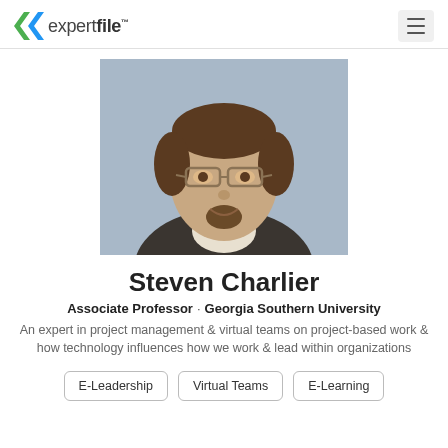expertfile
[Figure (photo): Headshot photo of Steven Charlier, a man with glasses and a goatee wearing a dark suit jacket and white shirt, against a grey-blue background.]
Steven Charlier
Associate Professor · Georgia Southern University
An expert in project management & virtual teams on project-based work & how technology influences how we work & lead within organizations
E-Leadership
Virtual Teams
E-Learning